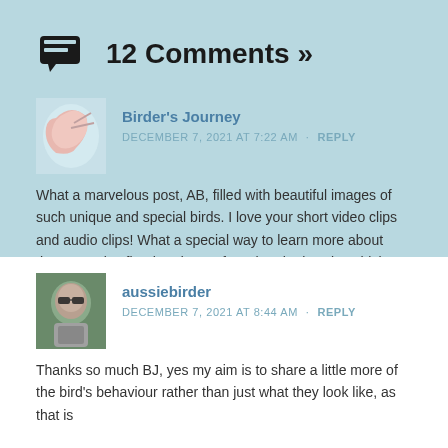12 Comments »
Birder's Journey
DECEMBER 7, 2021 AT 7:22 AM · REPLY
What a marvelous post, AB, filled with beautiful images of such unique and special birds. I love your short video clips and audio clips! What a special way to learn more about these species first-hand. I confess that the lapwing chick photo is my favorite 😁
Liked by 1 person
aussiebirder
DECEMBER 7, 2021 AT 8:44 AM · REPLY
Thanks so much BJ, yes my aim is to share a little more of the bird's behaviour rather than just what they look like, as that is